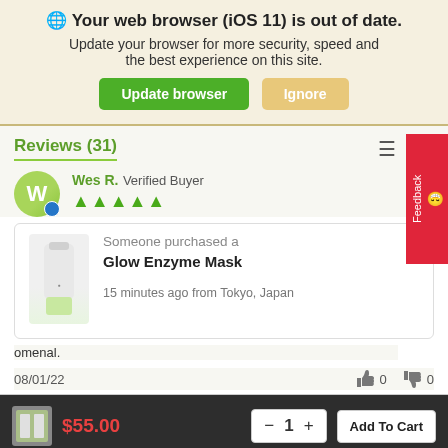🌐 Your web browser (iOS 11) is out of date. Update your browser for more security, speed and the best experience on this site. [Update browser] [Ignore]
Reviews (31)
Wes R. Verified Buyer ★★★★★
Someone purchased a
Glow Enzyme Mask
15 minutes ago from Tokyo, Japan
omenal.
08/01/22  👍 0  👎 0
$55.00   − 1 +   Add To Cart